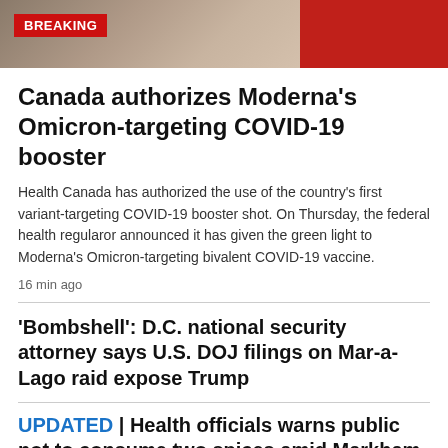[Figure (photo): Top banner area with a person's photo on the left and red background on the right, with a BREAKING news badge overlay]
Canada authorizes Moderna's Omicron-targeting COVID-19 booster
Health Canada has authorized the use of the country's first variant-targeting COVID-19 booster shot. On Thursday, the federal health regularor announced it has given the green light to Moderna's Omicron-targeting bivalent COVID-19 vaccine.
16 min ago
'Bombshell': D.C. national security attorney says U.S. DOJ filings on Mar-a-Lago raid expose Trump
UPDATED | Health officials warns public not to consume two spices amid Markham, Ont., probe
13 min ago